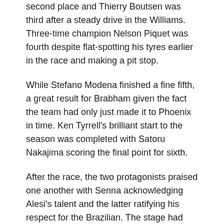second place and Thierry Boutsen was third after a steady drive in the Williams. Three-time champion Nelson Piquet was fourth despite flat-spotting his tyres earlier in the race and making a pit stop.
While Stefano Modena finished a fine fifth, a great result for Brabham given the fact the team had only just made it to Phoenix in time. Ken Tyrrell's brilliant start to the season was completed with Satoru Nakajima scoring the final point for sixth.
After the race, the two protagonists praised one another with Senna acknowledging Alesi's talent and the latter ratifying his respect for the Brazilian. The stage had been set for an action-packed year.
Grid Talk Podcast